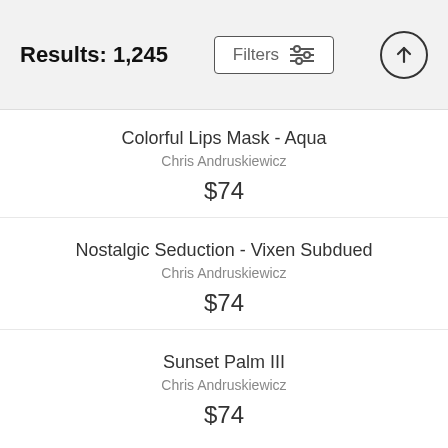Results: 1,245
Filters
Colorful Lips Mask - Aqua
Chris Andruskiewicz
$74
Nostalgic Seduction - Vixen Subdued
Chris Andruskiewicz
$74
Sunset Palm III
Chris Andruskiewicz
$74